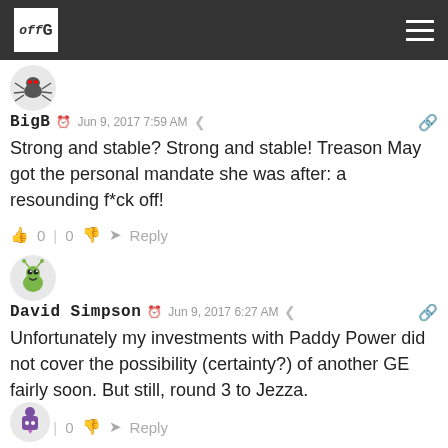offG (website header with logo and hamburger menu)
[Figure (illustration): Spider avatar icon for user BigB]
BigB  Jun 9, 2017 7:59 AM
Strong and stable? Strong and stable! Treason May got the personal mandate she was after: a resounding f*ck off!
0 | 0   Reply
[Figure (illustration): Green monster/bug avatar icon for user David Simpson]
David Simpson  Jun 9, 2017 6:27 AM
Unfortunately my investments with Paddy Power did not cover the possibility (certainty?) of another GE fairly soon. But still, round 3 to Jezza.
0 | 0   Reply
[Figure (illustration): Purple robot/alien avatar icon for third commenter]